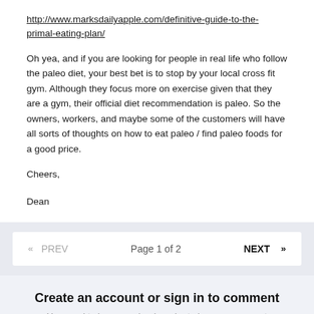http://www.marksdailyapple.com/definitive-guide-to-the-primal-eating-plan/
Oh yea, and if you are looking for people in real life who follow the paleo diet, your best bet is to stop by your local cross fit gym. Although they focus more on exercise given that they are a gym, their official diet recommendation is paleo. So the owners, workers, and maybe some of the customers will have all sorts of thoughts on how to eat paleo / find paleo foods for a good price.
Cheers,
Dean
« PREV   Page 1 of 2   NEXT »
Create an account or sign in to comment
You need to be a member in order to leave a comment